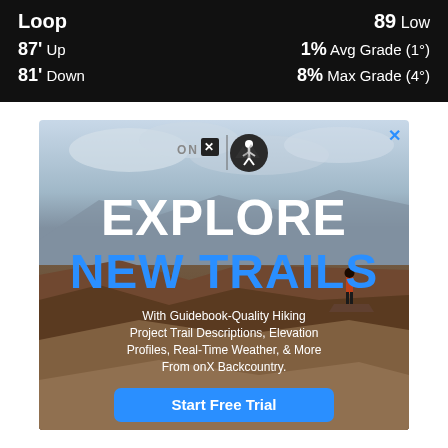Loop  89 Low
87' Up  1% Avg Grade (1°)
81' Down  8% Max Grade (4°)
[Figure (infographic): Advertisement for onX Backcountry app. Shows logos for onX and Hiking Project side by side. Background is a canyon landscape with a person standing on a cliff. Large text reads 'EXPLORE NEW TRAILS'. Subtitle: 'With Guidebook-Quality Hiking Project Trail Descriptions, Elevation Profiles, Real-Time Weather, & More From onX Backcountry.' Button: 'Start Free Trial'.]